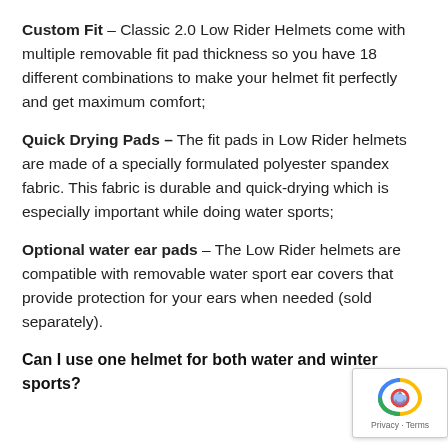Custom Fit – Classic 2.0 Low Rider Helmets come with multiple removable fit pad thickness so you have 18 different combinations to make your helmet fit perfectly and get maximum comfort;
Quick Drying Pads – The fit pads in Low Rider helmets are made of a specially formulated polyester spandex fabric. This fabric is durable and quick-drying which is especially important while doing water sports;
Optional water ear pads – The Low Rider helmets are compatible with removable water sport ear covers that provide protection for your ears when needed (sold separately).
Can I use one helmet for both water and winter sports?